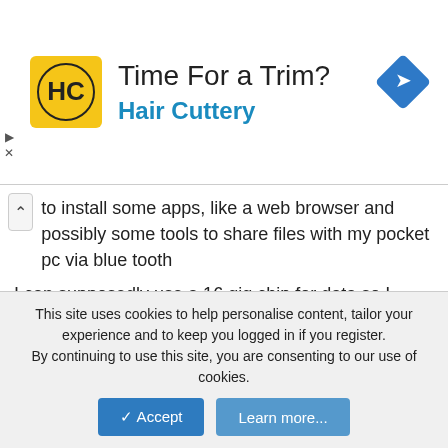[Figure (logo): Hair Cuttery advertisement banner with HC logo, 'Time For a Trim?' heading, 'Hair Cuttery' subheading in blue, and a blue navigation diamond icon on the right]
to install some apps, like a web browser and possibly some tools to share files with my pocket pc via blue tooth
I can supposedly use a 16 gig chip for data so I shouldn't have a storage issue with whatever I want to install
You must log in or register to reply here.
Members online
No members online now.
This site uses cookies to help personalise content, tailor your experience and to keep you logged in if you register.
By continuing to use this site, you are consenting to our use of cookies.